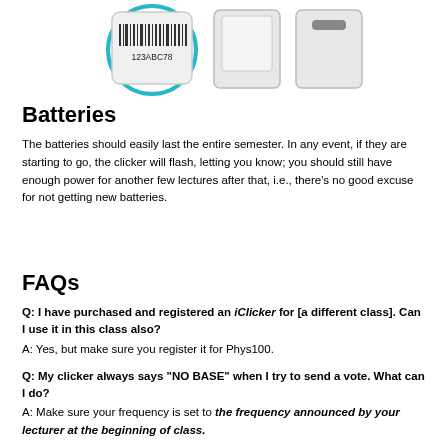[Figure (illustration): Three iClicker devices shown: one with a barcode reading 123ABC78 highlighted in a teal circle, and two others showing front/back views.]
Batteries
The batteries should easily last the entire semester. In any event, if they are starting to go, the clicker will flash, letting you know; you should still have enough power for another few lectures after that, i.e., there's no good excuse for not getting new batteries.
FAQs
Q: I have purchased and registered an iClicker for [a different class]. Can I use it in this class also?
A: Yes, but make sure you register it for Phys100.
Q: My clicker always says "NO BASE" when I try to send a vote. What can I do?
A: Make sure your frequency is set to the frequency announced by your lecturer at the beginning of class.